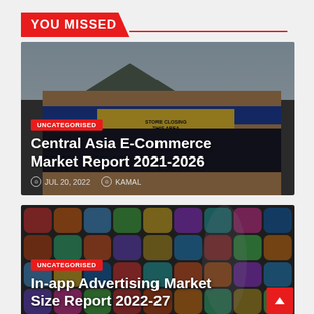YOU MISSED
[Figure (photo): Exterior of a retail store with blue awning and yellow closing sign, dark overlay]
UNCATEGORISED
Central Asia E-Commerce Market Report 2021-2026
JUL 20, 2022   KAMAL
[Figure (photo): Colorful mobile app icons grid with a hand/cursor silhouette overlay]
UNCATEGORISED
In-app Advertising Market Size Report 2022-27